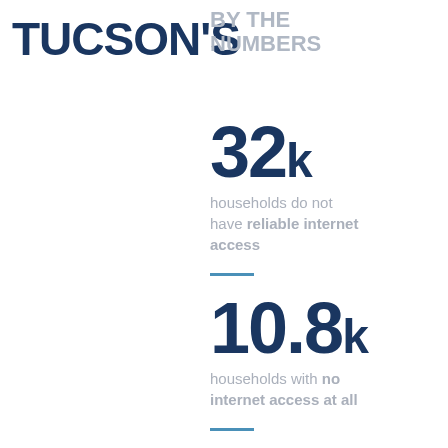TUCSON'S
BY THE NUMBERS
32k households do not have reliable internet access
10.8k households with no internet access at all
1000s of students, especially